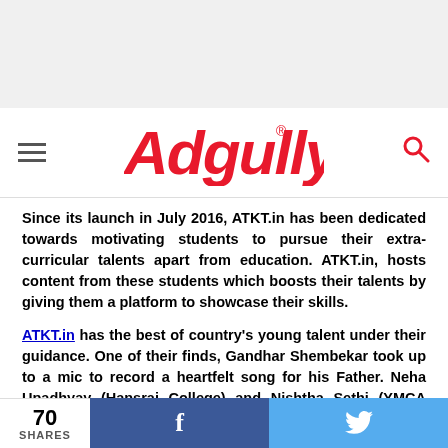Adgully logo navigation bar
Since its launch in July 2016, ATKT.in has been dedicated towards motivating students to pursue their extra-curricular talents apart from education. ATKT.in, hosts content from these students which boosts their talents by giving them a platform to showcase their skills.
ATKT.in has the best of country's young talent under their guidance. One of their finds, Gandhar Shembekar took up to a mic to record a heartfelt song for his Father. Neha Upadhyay (Hansrai College) and Nishtha Sethi (YMCA University of Science & Technology), ATKT.in's in-house Picasscos decided to use few colours and loads of love to make these Father's Day
70 SHARES